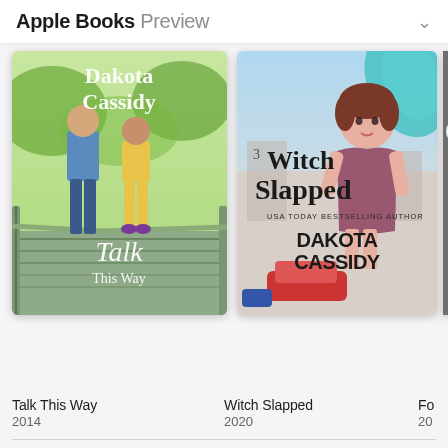Apple Books Preview
[Figure (screenshot): Book cover for 'Talk This Way' by Dakota Cassidy (2014) — shows couple on a bridge, green outdoor background]
Talk This Way
2014
[Figure (screenshot): Book cover for 'Witch Slapped' by Dakota Cassidy (2020) — anime-style illustration with woman in purple dress]
Witch Slapped
2020
[Figure (screenshot): Partially visible third book cover (2010s)]
Fo
20
Customers Also Bought
See All